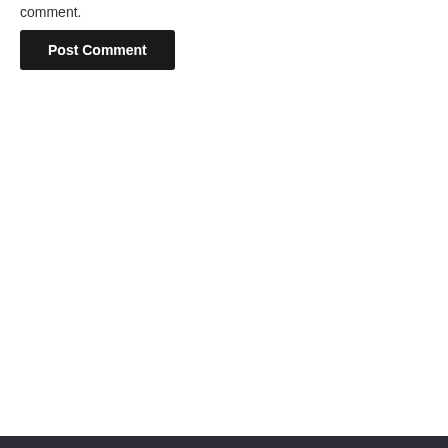comment.
Post Comment
[Figure (screenshot): Dark banner showing colorful Google-style card icons on left, large bold white text 'We are on' in center, close X button top right, partial 'vs' text bottom right. Overlaid Yahoo Search sponsored ad panel showing 'Search for' header with eye icon, two results: '01. Employee Engagement Platform Top' and '02. Use Garage Doors Repairing Services', with Yahoo! Search | Sponsored footer.]